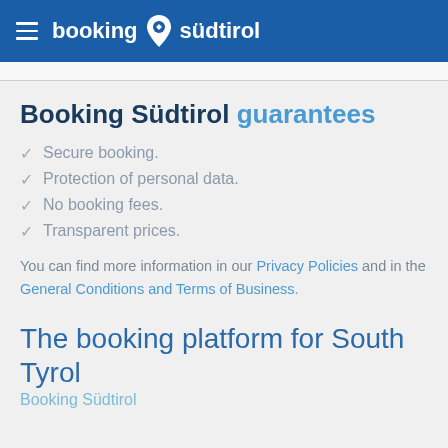booking südtirol
Booking Südtirol guarantees
Secure booking.
Protection of personal data.
No booking fees.
Transparent prices.
You can find more information in our Privacy Policies and in the General Conditions and Terms of Business.
The booking platform for South Tyrol
Booking Südtirol